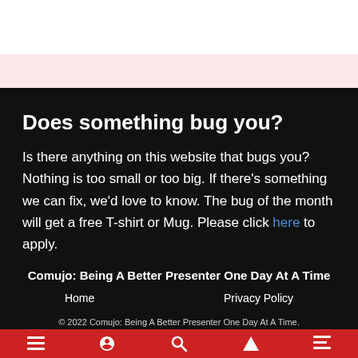Does something bug you?
Is there anything on this website that bugs you? Nothing is too small or too big. If there's something we can fix, we'd love to know. The bug of the month will get a free T-shirt or Mug. Please click here to apply.
Comujo: Being A Better Presenter One Day At A Time
Home   Privacy Policy
© 2022 Comujo: Being A Better Presenter One Day At A Time.